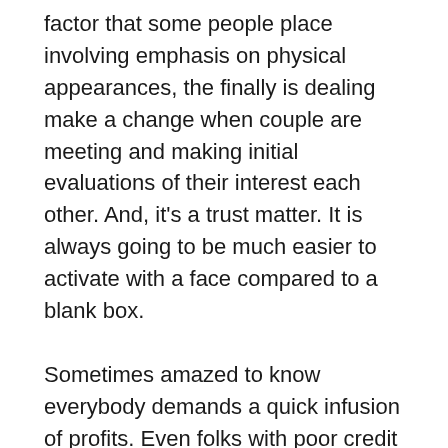factor that some people place involving emphasis on physical appearances, the finally is dealing make a change when couple are meeting and making initial evaluations of their interest each other. And, it's a trust matter. It is always going to be much easier to activate with a face compared to a blank box.
Sometimes amazed to know everybody demands a quick infusion of profits. Even folks with poor credit card. Things happen, cash gets short, unexpected expenses arise. For instance, a young girl might need school tuition funds or maybe even activity fees for a lab toned man walking field trip up. Perhaps [link] were made and hazards of an overdraft while on the checking account exists. Cars often need unexpected treatments. The necessity of traveling perhaps a medical